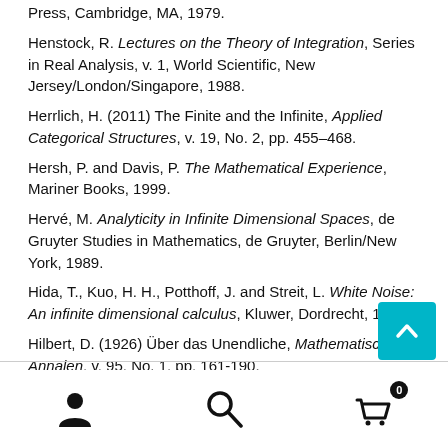Press, Cambridge, MA, 1979.
Henstock, R. Lectures on the Theory of Integration, Series in Real Analysis, v. 1, World Scientific, New Jersey/London/Singapore, 1988.
Herrlich, H. (2011) The Finite and the Infinite, Applied Categorical Structures, v. 19, No. 2, pp. 455–468.
Hersh, P. and Davis, P. The Mathematical Experience, Mariner Books, 1999.
Hervé, M. Analyticity in Infinite Dimensional Spaces, de Gruyter Studies in Mathematics, de Gruyter, Berlin/New York, 1989.
Hida, T., Kuo, H. H., Potthoff, J. and Streit, L. White Noise: An infinite dimensional calculus, Kluwer, Dordrecht, 1993.
Hilbert, D. (1926) Über das Unendliche, Mathematische Annalen, v. 95, No. 1, pp. 161-190.
[Figure (infographic): Bottom navigation bar with user icon, search icon, and shopping cart icon with badge showing 0. Teal scroll-to-top button with upward chevron arrow.]